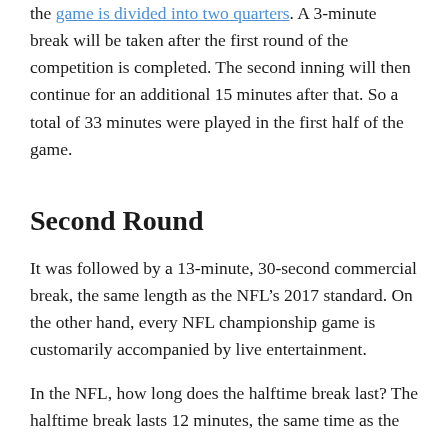the game is divided into two quarters. A 3-minute break will be taken after the first round of the competition is completed. The second inning will then continue for an additional 15 minutes after that. So a total of 33 minutes were played in the first half of the game.
Second Round
It was followed by a 13-minute, 30-second commercial break, the same length as the NFL’s 2017 standard. On the other hand, every NFL championship game is customarily accompanied by live entertainment.
In the NFL, how long does the halftime break last? The halftime break lasts 12 minutes, the same time as the